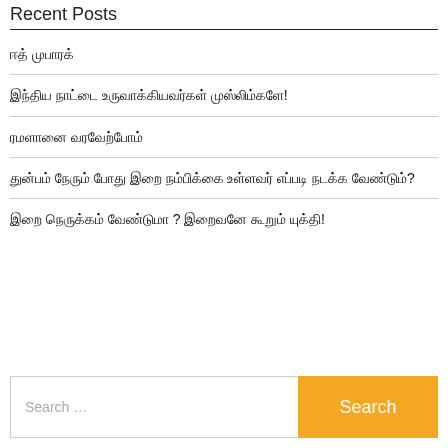Recent Posts
ஈத் முபாரக்
இந்திய நாட்டை உருவாக்கியவர்கள் முஸ்லிம்களே!
ரமளானை வரவேற்போம்
துன்பம் நேரும் போது இறை நம்பிக்கை உள்ளவர் எப்படி நடக்க வேண்டும்?
இறை நெருக்கம் வேண்டுமா ? இறைவனே கூறும் யுக்தி!